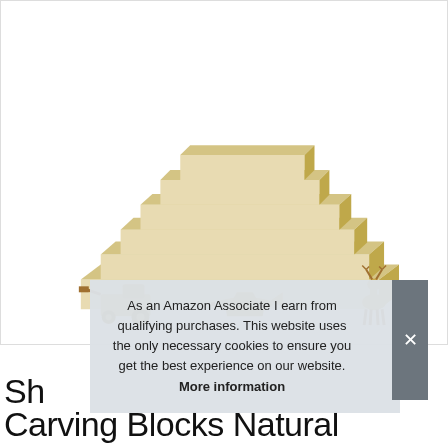[Figure (photo): Product photo showing stacked pale basswood/balsa carving blocks arranged in a stepped pyramid formation on top, and below three small wooden carved figurines: a tractor/vehicle, an airplane, and a deer/reindeer]
As an Amazon Associate I earn from qualifying purchases. This website uses the only necessary cookies to ensure you get the best experience on our website. More information
Sh
Carving Blocks Natural Whittling